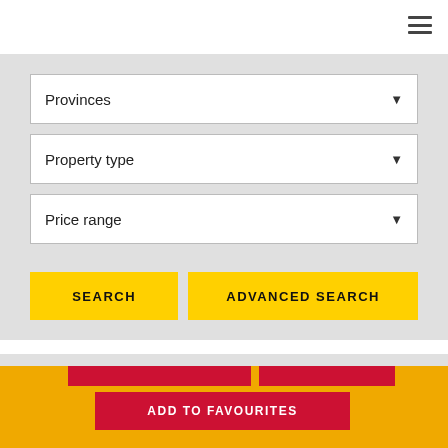[Figure (screenshot): Hamburger menu icon (three horizontal lines) in top-right corner of a white navigation bar]
Provinces
Property type
Price range
SEARCH
ADVANCED SEARCH
ADD TO FAVOURITES
[Figure (photo): Exterior photo of a Mediterranean-style villa with palm trees and blue sky, yellow/orange border at top]